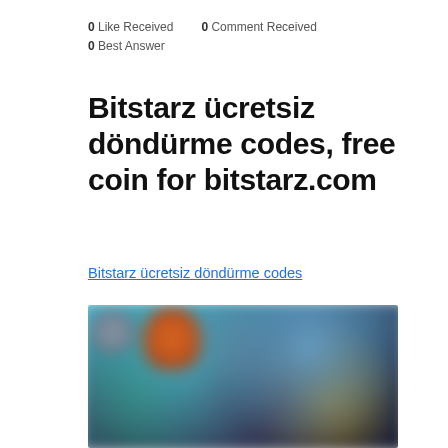0 Like Received   0 Comment Received
0 Best Answer
Bitstarz ücretsiz döndürme codes, free coin for bitstarz.com
Bitstarz ücretsiz döndürme codes
[Figure (photo): Blurred screenshot of a gaming or casino website showing colorful character graphics]